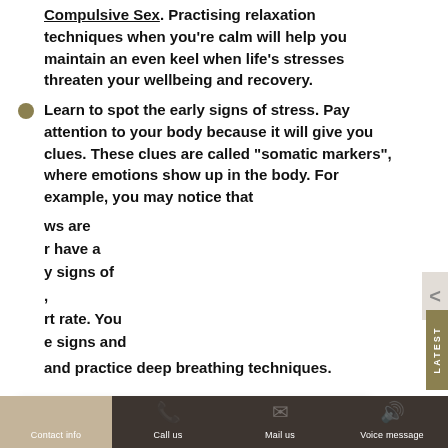Compulsive Sex. Practising relaxation techniques when you're calm will help you maintain an even keel when life's stresses threaten your wellbeing and recovery.
Learn to spot the early signs of stress. Pay attention to your body because it will give you clues. These clues are called "somatic markers", where emotions show up in the body. For example, you may notice that [your brows are ...] or have a [...] signs of [...], [...] rate. You [...] signs and
and practice deep breathing techniques.
This website uses cookies to make sure you get the best experience on our website. You can find more information under the Privacy Statement.
OK, I GOT IT
Contact info | Call us | Mail us | Voice message